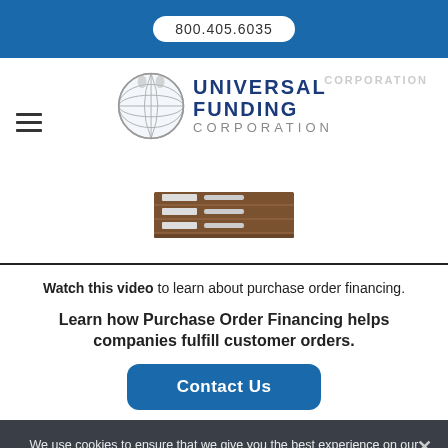800.405.6035
[Figure (logo): Universal Funding Corporation logo with globe graphic]
[Figure (photo): Video thumbnail showing filing cabinets/drawers, representing a purchase order financing video]
Watch this video to learn about purchase order financing.
Learn how Purchase Order Financing helps companies fulfill customer orders.
Contact Us
We use cookies to ensure that we give you the best experience on our website. If you continue to use this site we will assume that you are happy with it.
Ok